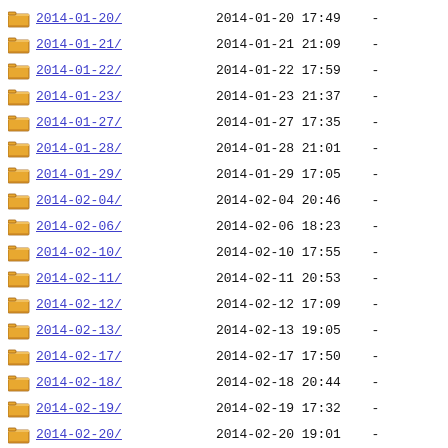2014-01-20/  2014-01-20 17:49  -
2014-01-21/  2014-01-21 21:09  -
2014-01-22/  2014-01-22 17:59  -
2014-01-23/  2014-01-23 21:37  -
2014-01-27/  2014-01-27 17:35  -
2014-01-28/  2014-01-28 21:01  -
2014-01-29/  2014-01-29 17:05  -
2014-02-04/  2014-02-04 20:46  -
2014-02-06/  2014-02-06 18:23  -
2014-02-10/  2014-02-10 17:55  -
2014-02-11/  2014-02-11 20:53  -
2014-02-12/  2014-02-12 17:09  -
2014-02-13/  2014-02-13 19:05  -
2014-02-17/  2014-02-17 17:50  -
2014-02-18/  2014-02-18 20:44  -
2014-02-19/  2014-02-19 17:32  -
2014-02-20/  2014-02-20 19:01  -